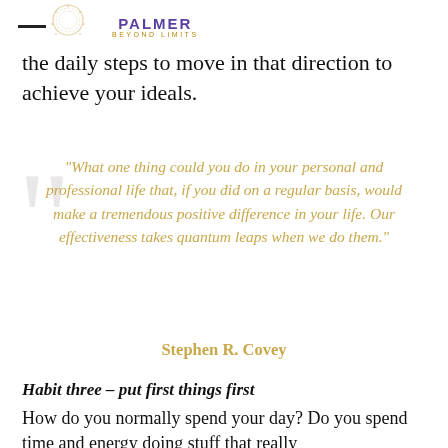PALMER BEYOND LIMITS
the daily steps to move in that direction to achieve your ideals.
“What one thing could you do in your personal and professional life that, if you did on a regular basis, would make a tremendous positive difference in your life. Our effectiveness takes quantum leaps when we do them.”
Stephen R. Covey
Habit three – put first things first
How do you normally spend your day? Do you spend time and energy doing stuff that really